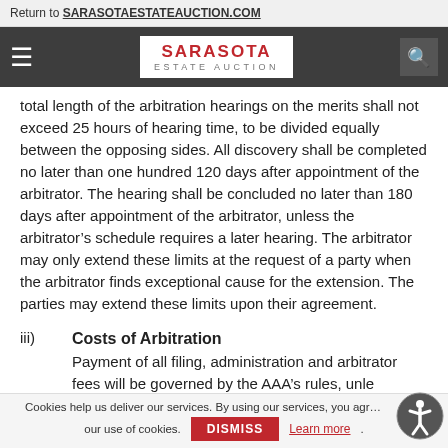Return to SARASOTAESTATEAUCTION.COM
[Figure (logo): Sarasota Estate Auction navigation bar with hamburger menu, logo, and search icon]
total length of the arbitration hearings on the merits shall not exceed 25 hours of hearing time, to be divided equally between the opposing sides. All discovery shall be completed no later than one hundred 120 days after appointment of the arbitrator. The hearing shall be concluded no later than 180 days after appointment of the arbitrator, unless the arbitrator’s schedule requires a later hearing. The arbitrator may only extend these limits at the request of a party when the arbitrator finds exceptional cause for the extension. The parties may extend these limits upon their agreement.
iii) Costs of Arbitration
Payment of all filing, administration and arbitrator fees will be governed by the AAA’s rules, unless
Cookies help us deliver our services. By using our services, you agree to our use of cookies. DISMISS Learn more.